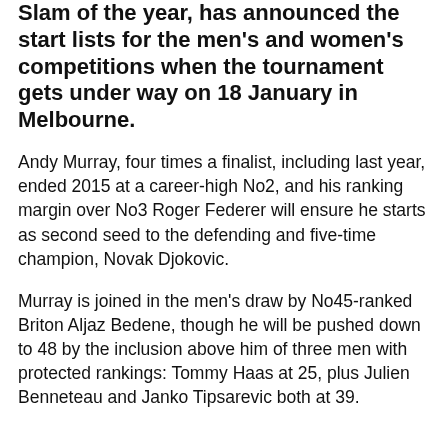Slam of the year, has announced the start lists for the men's and women's competitions when the tournament gets under way on 18 January in Melbourne.
Andy Murray, four times a finalist, including last year, ended 2015 at a career-high No2, and his ranking margin over No3 Roger Federer will ensure he starts as second seed to the defending and five-time champion, Novak Djokovic.
Murray is joined in the men's draw by No45-ranked Briton Aljaz Bedene, though he will be pushed down to 48 by the inclusion above him of three men with protected rankings: Tommy Haas at 25, plus Julien Benneteau and Janko Tipsarevic both at 39.